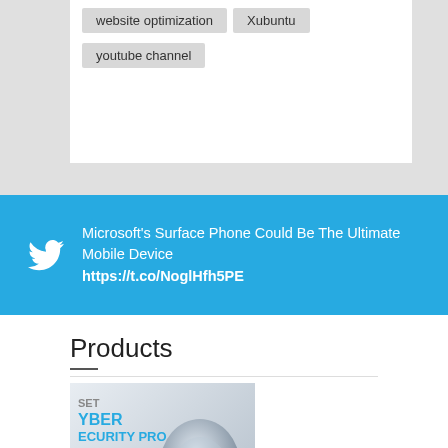website optimization
Xubuntu
youtube channel
Microsoft's Surface Phone Could Be The Ultimate Mobile Device https://t.co/NoglHfh5PE
Products
[Figure (photo): ESET Cyber Security Pro product box with robot/android face on the right side]
ESET Cyber Security